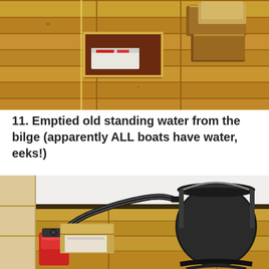[Figure (photo): Overhead view of wooden boat floor boards with an open hatch cut in them revealing the bilge area below. Some insulation material is visible inside the hatch. Several wooden floorboard sections are pulled aside to the right.]
11. Emptied old standing water from the bilge (apparently ALL boats have water, eeks!)
[Figure (photo): Photo showing tools used to empty bilge water: a red and black wet/dry vacuum with a black corrugated hose, and a black metal bucket sitting on a wooden boat floor. A wooden panel is visible in the background against a white wall.]